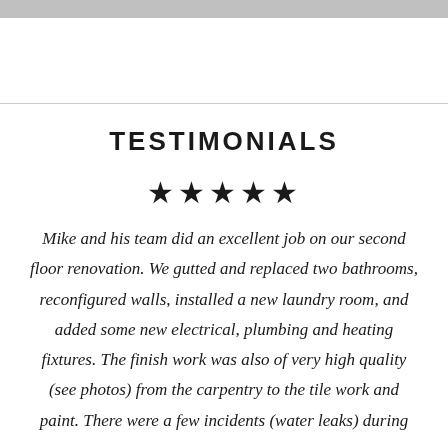TESTIMONIALS
[Figure (other): Five black star rating icons]
Mike and his team did an excellent job on our second floor renovation. We gutted and replaced two bathrooms, reconfigured walls, installed a new laundry room, and added some new electrical, plumbing and heating fixtures. The finish work was also of very high quality (see photos) from the carpentry to the tile work and paint. There were a few incidents (water leaks) during